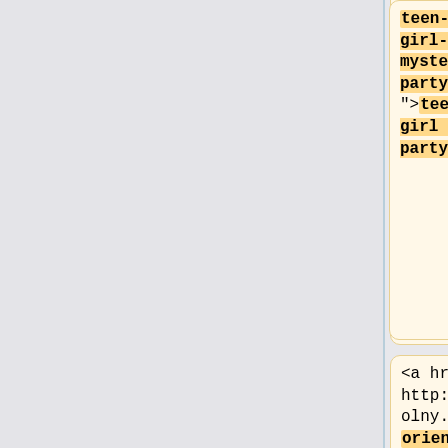<a href="http://www.volny.cz/teen-boy-girl-mystery-party.html">teen boy girl mystery party</a>
<a href="http://www.volny.cz/xxx-3d-girl-with-gorilla.html">xxx 3d girl with gorilla</a>
<a href="http://www.volny.cz/dls/oriental-girls-sucking-cock.html">oriental girls sucking cock</a>
<a href="http://www.volny.cz/vid12/wifeylikesblackcock.html">wifeylikesblackcock</a>
<a href="http://www.volny.cz/XMV/...
<a href="http://www.volny.cz/dog/...